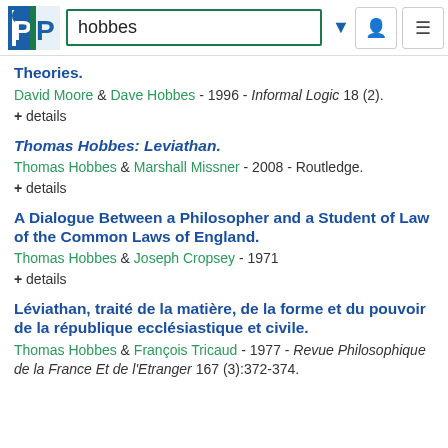[Figure (screenshot): PhilPapers search interface header with logo, search box showing 'hobbes', dropdown arrow, user icon, and menu icon]
Theories.
David Moore & Dave Hobbes - 1996 - Informal Logic 18 (2).
+ details
Thomas Hobbes: Leviathan.
Thomas Hobbes & Marshall Missner - 2008 - Routledge.
+ details
A Dialogue Between a Philosopher and a Student of Law of the Common Laws of England.
Thomas Hobbes & Joseph Cropsey - 1971
+ details
Léviathan, traité de la matière, de la forme et du pouvoir de la république ecclésiastique et civile.
Thomas Hobbes & François Tricaud - 1977 - Revue Philosophique de la France Et de l'Etranger 167 (3):372-374.